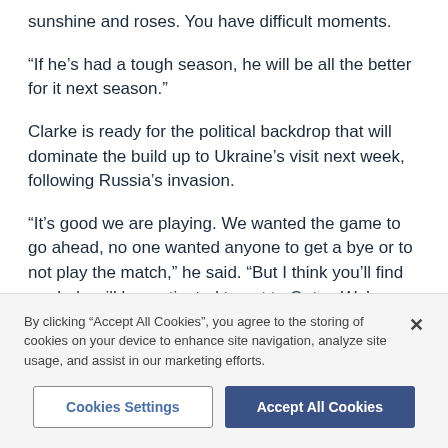sunshine and roses. You have difficult moments.
“If he’s had a tough season, he will be all the better for it next season.”
Clarke is ready for the political backdrop that will dominate the build up to Ukraine’s visit next week, following Russia’s invasion.
“It’s good we are playing. We wanted the game to go ahead, no one wanted anyone to get a bye or to not play the match,” he said. “But I think you’ll find our lads will be motivated to get to Qatar. We’ve waited a
By clicking “Accept All Cookies”, you agree to the storing of cookies on your device to enhance site navigation, analyze site usage, and assist in our marketing efforts.
Cookies Settings
Accept All Cookies